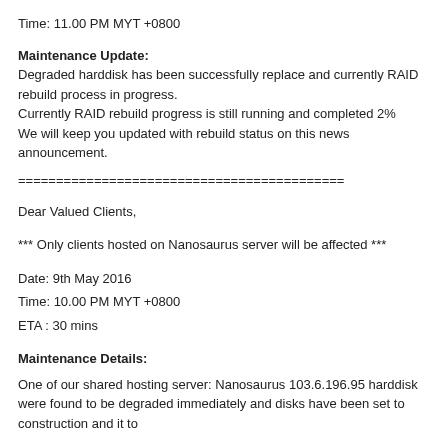Time: 11.00 PM MYT +0800
Maintenance Update:
Degraded harddisk has been successfully replace and currently RAID rebuild process in progress.
Currently RAID rebuild progress is still running and completed 2%
We will keep you updated with rebuild status on this news announcement.
===========================================
Dear Valued Clients,
*** Only clients hosted on Nanosaurus server will be affected ***
Date: 9th May 2016
Time: 10.00 PM MYT +0800
ETA : 30 mins
Maintenance Details:
One of our shared hosting server: Nanosaurus 103.6.196.95 harddisk were found to be degraded immediately and disks have been set to construction and it to